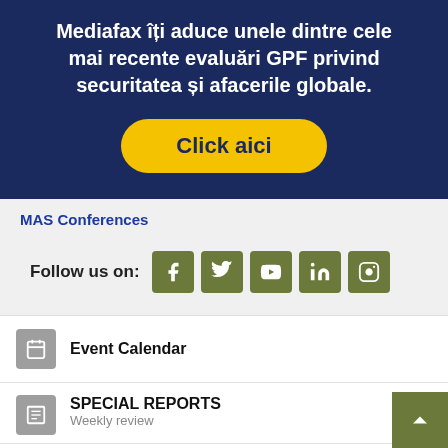Mediafax îți aduce unele dintre cele mai recente evaluări GPF privind securitatea și afacerile globale.
Click aici
MAS Conferences
Follow us on:
[Figure (infographic): Social media icons: Facebook, Twitter, YouTube, LinkedIn, Instagram on olive/green square backgrounds]
Event Calendar
SPECIAL REPORTS
Weekly review